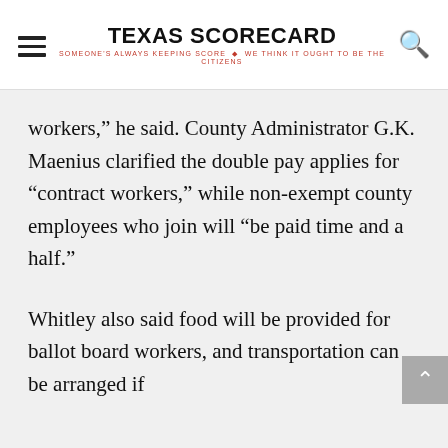TEXAS SCORECARD — SOMEONE'S ALWAYS KEEPING SCORE — WE THINK IT OUGHT TO BE THE CITIZENS
workers,” he said. County Administrator G.K. Maenius clarified the double pay applies for “contract workers,” while non-exempt county employees who join will “be paid time and a half.”
Whitley also said food will be provided for ballot board workers, and transportation can be arranged if